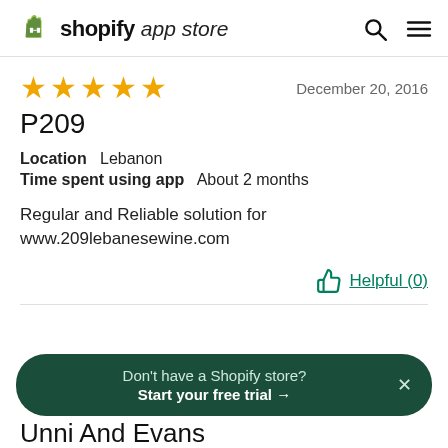shopify app store
★★★★★  December 20, 2016
P209
Location  Lebanon
Time spent using app  About 2 months
Regular and Reliable solution for www.209lebanesewine.com
Helpful (0)
Don't have a Shopify store? Start your free trial →
Unni And Evans